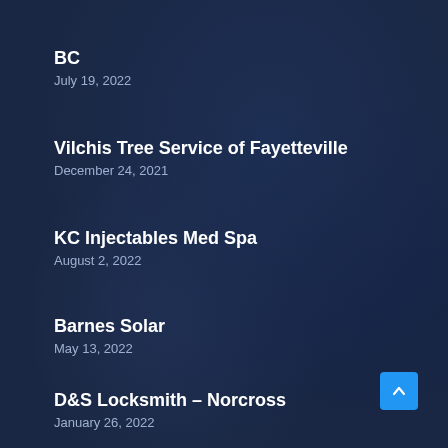BC
July 19, 2022
Vilchis Tree Service of Fayetteville
December 24, 2021
KC Injectables Med Spa
August 2, 2022
Barnes Solar
May 13, 2022
D&S Locksmith – Norcross
January 26, 2022